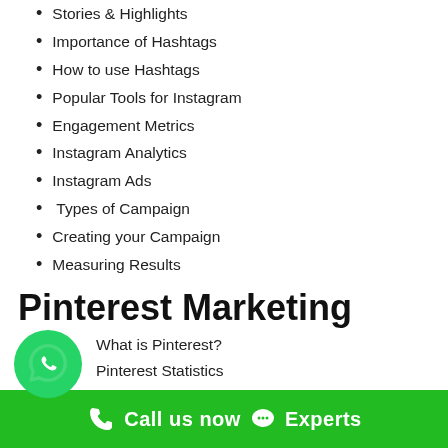Stories & Highlights
Importance of Hashtags
How to use Hashtags
Popular Tools for Instagram
Engagement Metrics
Instagram Analytics
Instagram Ads
Types of Campaign
Creating your Campaign
Measuring Results
Pinterest Marketing
What is Pinterest?
Pinterest Statistics
How brands use Pinterest
Call us now  Experts